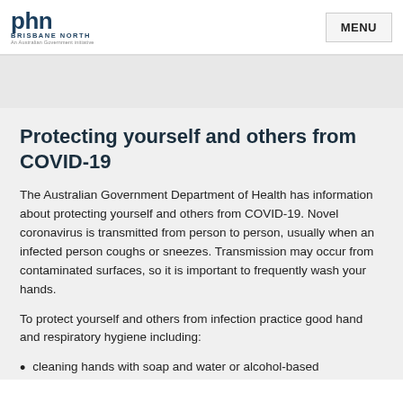phn BRISBANE NORTH An Australian Government initiative | MENU
Protecting yourself and others from COVID-19
The Australian Government Department of Health has information about protecting yourself and others from COVID-19. Novel coronavirus is transmitted from person to person, usually when an infected person coughs or sneezes. Transmission may occur from contaminated surfaces, so it is important to frequently wash your hands.
To protect yourself and others from infection practice good hand and respiratory hygiene including:
cleaning hands with soap and water or alcohol-based